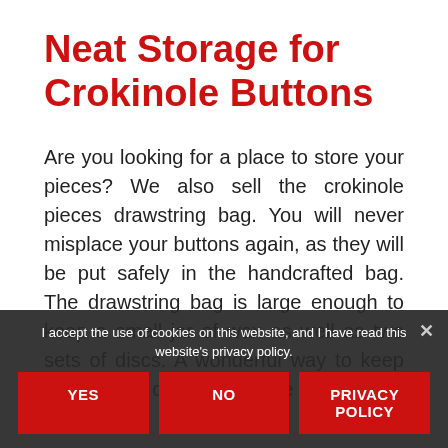Neat Storage for Crokinole Buttons
Are you looking for a place to store your pieces? We also sell the crokinole pieces drawstring bag. You will never misplace your buttons again, as they will be put safely in the handcrafted bag. The drawstring bag is large enough to keep a small jar of wax as well as two sets of discs. A wonderful way to keep all of your crokinole game supplies in one place.
Whether you are a professional and need to replace some discs, or no matter the game part, are discs sure to see the quality of the discs that we provide. We
I accept the use of cookies on this website, and I have read this website's privacy policy.
YES  NO  PRIVACY POLICY